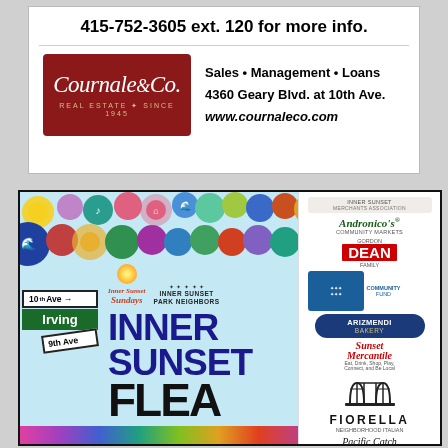415-752-3605 ext. 120 for more info.
[Figure (logo): Cournale & Co. Real Estate Since 1945 logo on dark red background with script text]
Sales • Management • Loans
4360 Geary Blvd. at 10th Ave.
www.cournaleco.com
[Figure (infographic): Inner Sunset Flea Market colorful advertisement. Inner Sunset Sundays and Inner Sunset Park Neighbors logos at top. Large text: INNER SUNSET FLEA MARKET. Family fun, food & finds. Irving Street @ 9th–10th Avenues. 10am–4pm on second Sundays. For more info go to isflea.com or call 415-465-2475. This is a smoke-free event pursuant to SF Health Code Article 19L. Sponsor logos on right side including Inner Sunset Merchants Association, Andronico's Community Markets, Gordon Dean Family, Community Fund, Arizmendi Bakery, Sunset Mercantile, a Golden Gate Bridge icon, Fiorella, Pacific Catch, and others.]